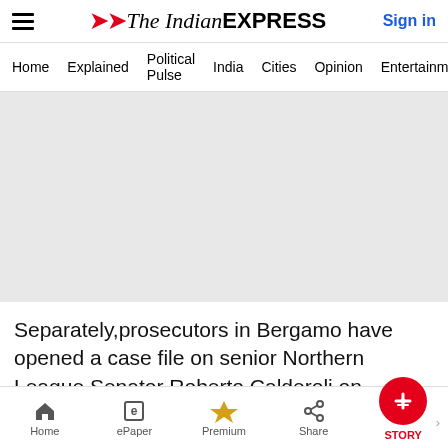The Indian Express — Sign in
Home  Explained  Political Pulse  India  Cities  Opinion  Entertainment
[Figure (other): Advertisement placeholder — large grey rectangle]
Separately,prosecutors in Bergamo have opened a case file on senior Northern League Senator Roberto Calderoli on suspicion of racially-
Home  ePaper  Premium  Share  STORY